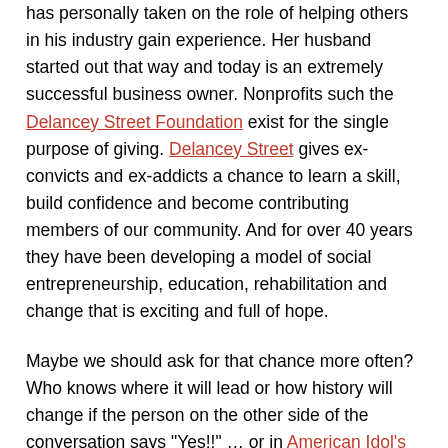has personally taken on the role of helping others in his industry gain experience. Her husband started out that way and today is an extremely successful business owner. Nonprofits such the Delancey Street Foundation exist for the single purpose of giving. Delancey Street gives ex-convicts and ex-addicts a chance to learn a skill, build confidence and become contributing members of our community. And for over 40 years they have been developing a model of social entrepreneurship, education, rehabilitation and change that is exciting and full of hope.
Maybe we should ask for that chance more often? Who knows where it will lead or how history will change if the person on the other side of the conversation says "Yes!!" … or in American Idol's case … "you're going to Hollywood!!!".